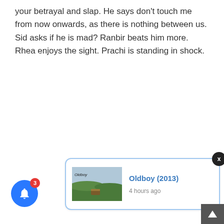your betrayal and slap. He says don't touch me from now onwards, as there is nothing between us. Sid asks if he is mad? Ranbir beats him more. Rhea enjoys the sight. Prachi is standing in shock.
[Figure (screenshot): Notification card showing 'Oldboy (2013)' with a thumbnail image of a green landscape and a timestamp '4 hours ago'. Below left is a blue bell notification button with a red badge showing '3'. Bottom right has a dark scroll-to-top arrow button. A dark close button 'x' appears top right of the card.]